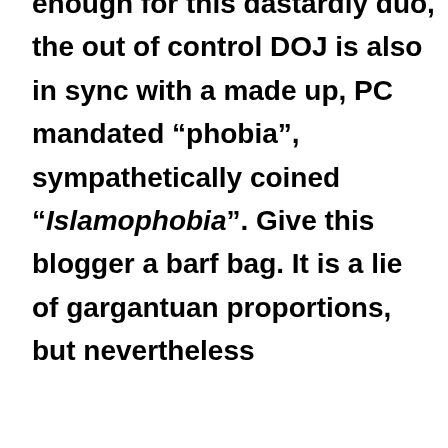enough for this dastardly duo, the out of control DOJ is also in sync with a made up, PC mandated “phobia”, sympathetically coined “Islamophobia”. Give this blogger a barf bag. It is a lie of gargantuan proportions, but nevertheless